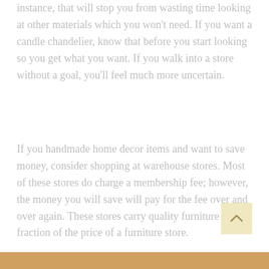instance, that will stop you from wasting time looking at other materials which you won't need. If you want a candle chandelier, know that before you start looking so you get what you want. If you walk into a store without a goal, you'll feel much more uncertain.
If you handmade home decor items and want to save money, consider shopping at warehouse stores. Most of these stores do charge a membership fee; however, the money you will save will pay for the fee over and over again. These stores carry quality furniture at a fraction of the price of a furniture store.